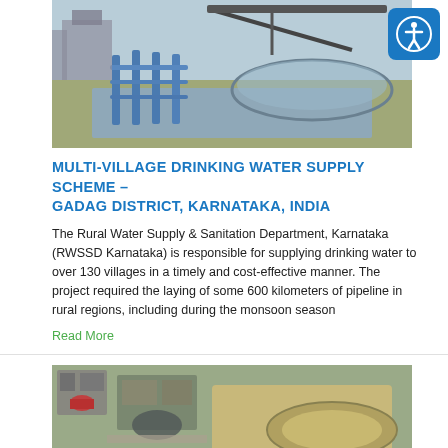[Figure (photo): Aerial/ground-level photograph of a water treatment facility with blue metal railings, circular treatment tanks, and industrial infrastructure]
MULTI-VILLAGE DRINKING WATER SUPPLY SCHEME – GADAG DISTRICT, KARNATAKA, INDIA
The Rural Water Supply & Sanitation Department, Karnataka (RWSSD Karnataka) is responsible for supplying drinking water to over 130 villages in a timely and cost-effective manner. The project required the laying of some 600 kilometers of pipeline in rural regions, including during the monsoon season
Read More
[Figure (photo): Aerial photograph of a construction site showing water infrastructure project development with tanks and earthworks]